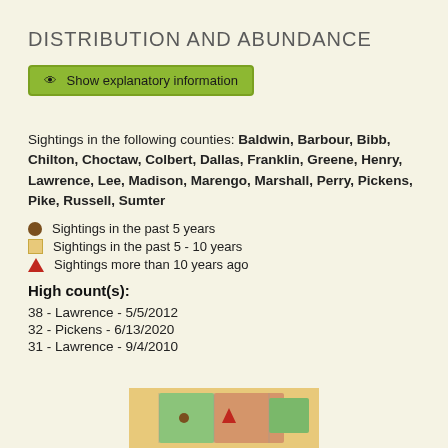DISTRIBUTION AND ABUNDANCE
[Figure (screenshot): Green button with eye icon labeled 'Show explanatory information']
Sightings in the following counties: Baldwin, Barbour, Bibb, Chilton, Choctaw, Colbert, Dallas, Franklin, Greene, Henry, Lawrence, Lee, Madison, Marengo, Marshall, Perry, Pickens, Pike, Russell, Sumter
Sightings in the past 5 years
Sightings in the past 5 - 10 years
Sightings more than 10 years ago
High count(s):
38 - Lawrence - 5/5/2012
32 - Pickens - 6/13/2020
31 - Lawrence - 9/4/2010
[Figure (map): Partial map showing counties with colored markers indicating sighting locations]